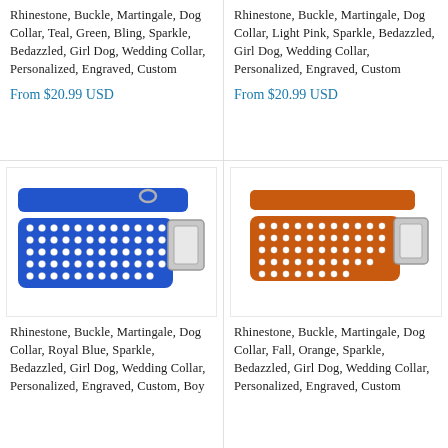Rhinestone, Buckle, Martingale, Dog Collar, Teal, Green, Bling, Sparkle, Bedazzled, Girl Dog, Wedding Collar, Personalized, Engraved, Custom
From $20.99 USD
Rhinestone, Buckle, Martingale, Dog Collar, Light Pink, Sparkle, Bedazzled, Girl Dog, Wedding Collar, Personalized, Engraved, Custom
From $20.99 USD
[Figure (photo): Blue rhinestone dog collar with silver buckle and rhinestone-studded nylon band]
Rhinestone, Buckle, Martingale, Dog Collar, Royal Blue, Sparkle, Bedazzled, Girl Dog, Wedding Collar, Personalized, Engraved, Custom, Boy
[Figure (photo): Orange rhinestone dog collar with silver buckle and rhinestone-studded nylon band]
Rhinestone, Buckle, Martingale, Dog Collar, Fall, Orange, Sparkle, Bedazzled, Girl Dog, Wedding Collar, Personalized, Engraved, Custom